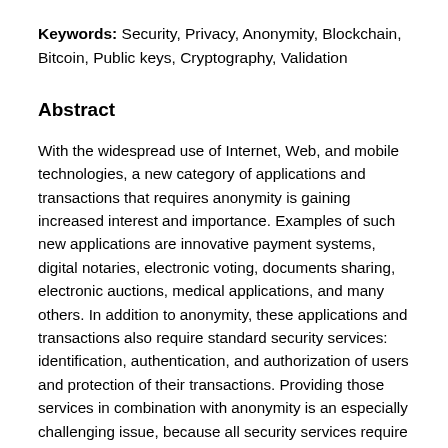Keywords: Security, Privacy, Anonymity, Blockchain, Bitcoin, Public keys, Cryptography, Validation
Abstract
With the widespread use of Internet, Web, and mobile technologies, a new category of applications and transactions that requires anonymity is gaining increased interest and importance. Examples of such new applications are innovative payment systems, digital notaries, electronic voting, documents sharing, electronic auctions, medical applications, and many others. In addition to anonymity, these applications and transactions also require standard security services: identification, authentication, and authorization of users and protection of their transactions. Providing those services in combination with anonymity is an especially challenging issue, because all security services require explicit user identification and authentication. To solve this issue and enable applications with security and also